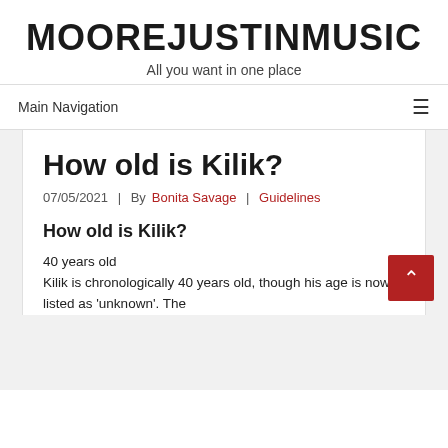MOOREJUSTINMUSIC
All you want in one place
Main Navigation
How old is Kilik?
07/05/2021  |  By Bonita Savage  |  Guidelines
How old is Kilik?
40 years old
Kilik is chronologically 40 years old, though his age is now listed as 'unknown'. The